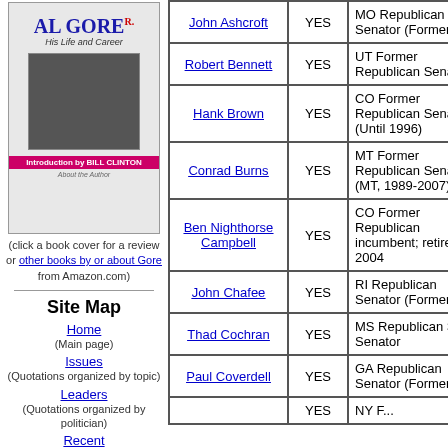[Figure (photo): Book cover: AL GORE R. His Life and Career, Introduction by Bill Clinton]
(click a book cover for a review or other books by or about Gore from Amazon.com)
Site Map
Home (Main page)
Issues (Quotations organized by topic)
Leaders (Quotations organized by politician)
Recent (Most recent quotation for each person)
Candidate Grid (Summary by candidate of positions on each
| Name | Vote | Role |
| --- | --- | --- |
| John Ashcroft | YES | MO Republican Senator (Former) |
| Robert Bennett | YES | UT Former Republican Senator |
| Hank Brown | YES | CO Former Republican Senator (Until 1996) |
| Conrad Burns | YES | MT Former Republican Senator (MT, 1989-2007) |
| Ben Nighthorse Campbell | YES | CO Former Republican incumbent; retired 2004 |
| John Chafee | YES | RI Republican Senator (Former) |
| Thad Cochran | YES | MS Republican Sr Senator |
| Paul Coverdell | YES | GA Republican Senator (Former) |
|  | YES | NY F... |